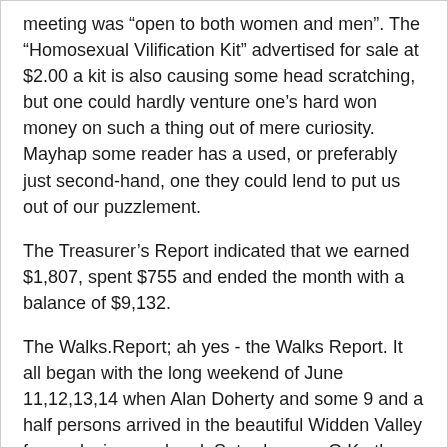meeting was “open to both women and men”. The “Homosexual Vilification Kit” advertised for sale at $2.00 a kit is also causing some head scratching, but one could hardly venture one’s hard won money on such a thing out of mere curiosity. Mayhap some reader has a used, or preferably just second-hand, one they could lend to put us out of our puzzlement.
The Treasurer’s Report indicated that we earned $1,807, spent $755 and ended the month with a balance of $9,132.
The Walks.Report; ah yes - the Walks Report. It all began with the long weekend of June 11,12,13,14 when Alan Doherty and some 9 and a half persons arrived in the beautiful Widden Valley for a relaxing weekend. Saturday was O.K., they spent most of it arriving and setting up camp in the prevailing light drizzle. Sunday was the day of the day walk, I say DAY WALK, to Mount Pomany. Progress along the way was slow for the 8 who ventured